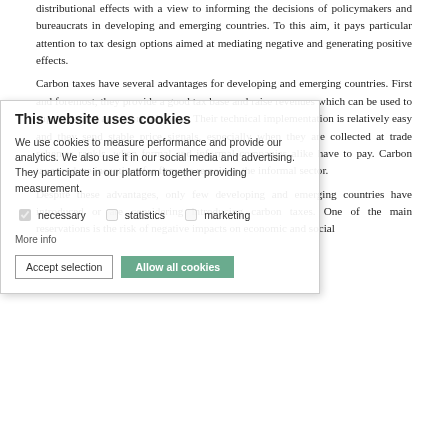distributional effects with a view to informing the decisions of policymakers and bureaucrats in developing and emerging countries. To this aim, it pays particular attention to tax design options aimed at mediating negative and generating positive effects.
Carbon taxes have several advantages for developing and emerging countries. First and foremost, they provide a good tax base and raise revenues which can be used to support social and economic aims. Their technical implementation is relatively easy and they send stable price signals, especially when they are collected at trade scheme srankls, when formal and informal companies alike have to pay. Carbon taxes reduce incentives for firms to remain in the informal sector.
Despite these advantages, only few developing and emerging countries have introduced or are considering introducing carbon taxes. One of the main reservations is the risk of negative impacts on economic and social
[Figure (other): Cookie consent banner overlaying the main text. Title: 'This website uses cookies'. Body text describes cookie usage for analytics and advertising. Checkboxes for: necessary (checked), statistics, marketing. Links: 'More info'. Buttons: 'Accept selection' and 'Allow all cookies' (green).]